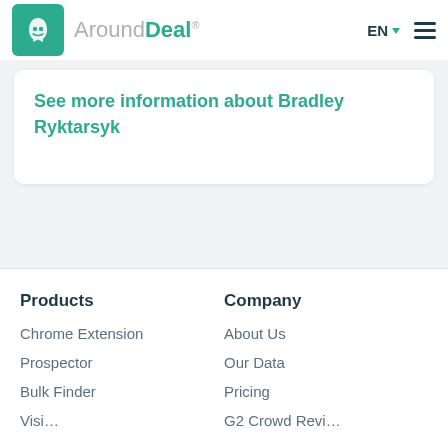AroundDeal® EN ☰
See more information about Bradley Ryktarsyk
Products
Company
Chrome Extension
About Us
Prospector
Our Data
Bulk Finder
Pricing
Visi…
G2 Crowd Revi…